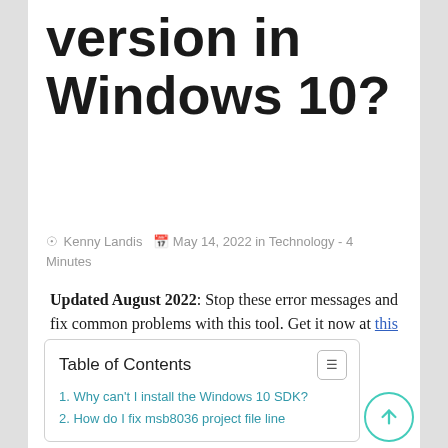version in Windows 10?
Kenny Landis  May 14, 2022 in Technology - 4 Minutes
Updated August 2022: Stop these error messages and fix common problems with this tool. Get it now at this link
Download and install the software.
It will scan your computer for problems.
The tool will then fix the issues that
| Table of Contents |
| --- |
| 1. Why can't I install the Windows 10 SDK? |
| 2. How do I fix msb8036 project file line |